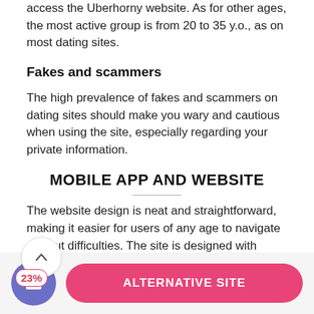access the Uberhorny website. As for other ages, the most active group is from 20 to 35 y.o., as on most dating sites.
Fakes and scammers
The high prevalence of fakes and scammers on dating sites should make you wary and cautious when using the site, especially regarding your private information.
MOBILE APP AND WEBSITE
The website design is neat and straightforward, making it easier for users of any age to navigate without difficulties. The site is designed with many
ALTERNATIVE SITE